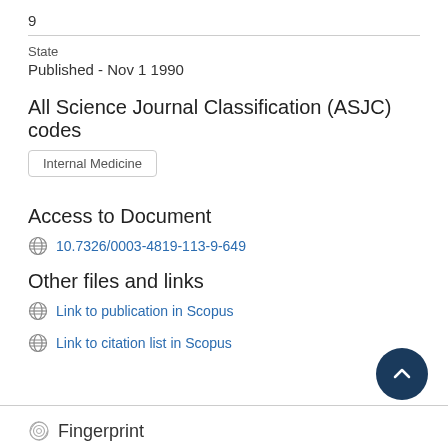9
State
Published - Nov 1 1990
All Science Journal Classification (ASJC) codes
Internal Medicine
Access to Document
10.7326/0003-4819-113-9-649
Other files and links
Link to publication in Scopus
Link to citation list in Scopus
Fingerprint